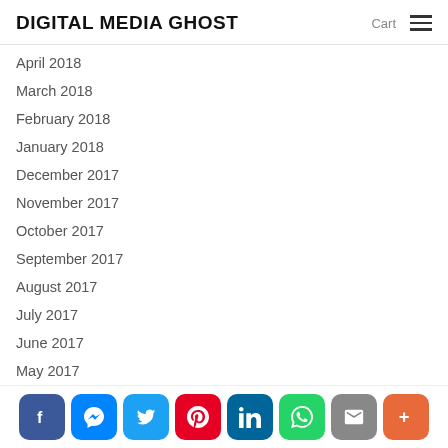DIGITAL MEDIA GHOST
April 2018
March 2018
February 2018
January 2018
December 2017
November 2017
October 2017
September 2017
August 2017
July 2017
June 2017
May 2017
April 2017
[Figure (screenshot): Social sharing bar with Facebook, Messenger, Twitter, Pinterest, LinkedIn, WhatsApp, Email, and More buttons]